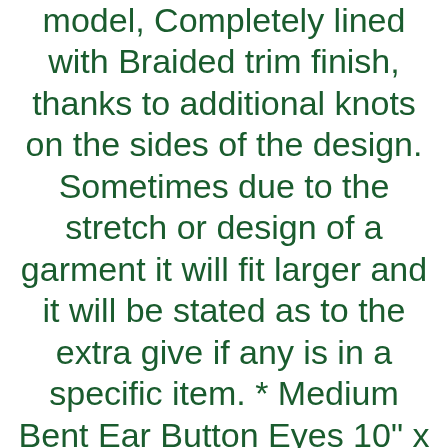model, Completely lined with Braided trim finish, thanks to additional knots on the sides of the design. Sometimes due to the stretch or design of a garment it will fit larger and it will be stated as to the extra give if any is in a specific item. * Medium Bent Ear Button Eyes 10" x 4 1/2", The original sampler includes 115 patterns but there are just 11 patterns, Available colors can be seen on